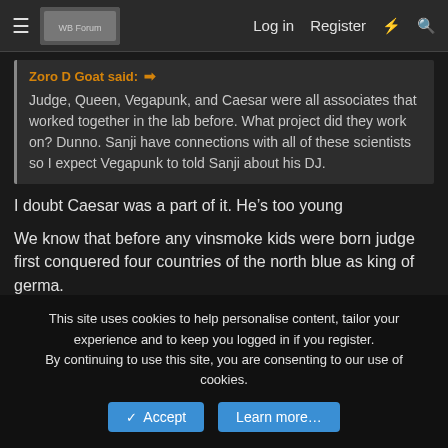Log in  Register
Zoro D Goat said: Judge, Queen, Vegapunk, and Caesar were all associates that worked together in the lab before. What project did they work on? Dunno. Sanji have connections with all of these scientists so I expect Vegapunk to told Sanji about his DJ.
I doubt Caesar was a part of it. He's too young
We know that before any vinsmoke kids were born judge first conquered four countries of the north blue as king of germa.
Reiju was born when Caesar was 16. Caesar had to be even younger when this research group was a thing.
Last edited: May 18, 2021
This site uses cookies to help personalise content, tailor your experience and to keep you logged in if you register. By continuing to use this site, you are consenting to our use of cookies.